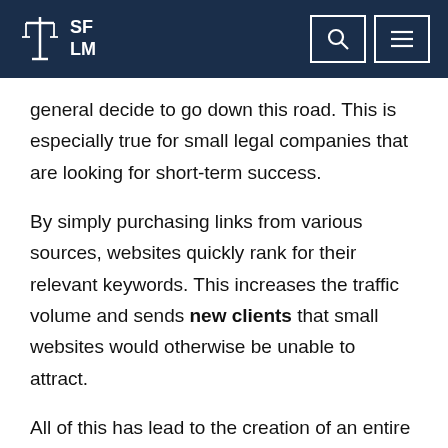SF LM
general decide to go down this road. This is especially true for small legal companies that are looking for short-term success.
By simply purchasing links from various sources, websites quickly rank for their relevant keywords. This increases the traffic volume and sends new clients that small websites would otherwise be unable to attract.
All of this has lead to the creation of an entire industry of companies buying domains and links every two to three months and reaping short-term benefits from it,